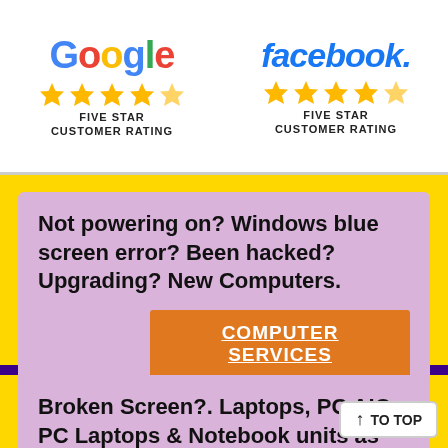[Figure (logo): Google logo with colored letters and five gold stars, labeled FIVE STAR CUSTOMER RATING]
[Figure (logo): Facebook logo in bold blue italic text and five gold stars, labeled FIVE STAR CUSTOMER RATING]
Not powering on? Windows blue screen error? Been hacked? Upgrading? New Computers.
COMPUTER SERVICES
Broken Screen?. Laptops, PC AIO, PC Laptops & Notebook units as well as all your IT services.
TO TOP